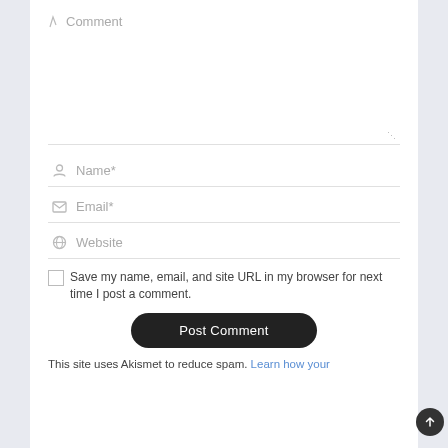Comment
Name*
Email*
Website
Save my name, email, and site URL in my browser for next time I post a comment.
Post Comment
This site uses Akismet to reduce spam. Learn how your